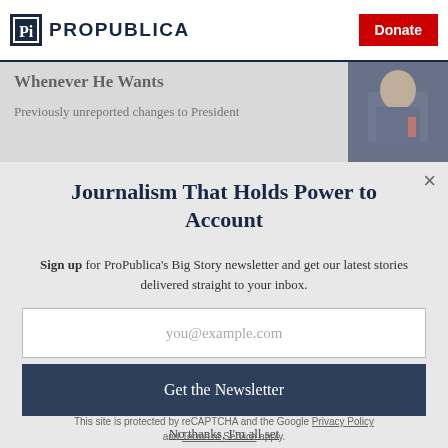ProPublica | Donate
Whenever He Wants
Previously unreported changes to President
Journalism That Holds Power to Account
Sign up for ProPublica's Big Story newsletter and get our latest stories delivered straight to your inbox.
you@example.com
Get the Newsletter
No thanks, I'm all set
This site is protected by reCAPTCHA and the Google Privacy Policy and Terms of Service apply.